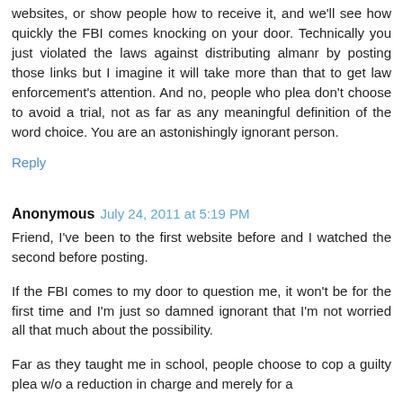websites, or show people how to receive it, and we'll see how quickly the FBI comes knocking on your door. Technically you just violated the laws against distributing almanr by posting those links but I imagine it will take more than that to get law enforcement's attention. And no, people who plea don't choose to avoid a trial, not as far as any meaningful definition of the word choice. You are an astonishingly ignorant person.
Reply
Anonymous  July 24, 2011 at 5:19 PM
Friend, I've been to the first website before and I watched the second before posting.
If the FBI comes to my door to question me, it won't be for the first time and I'm just so damned ignorant that I'm not worried all that much about the possibility.
Far as they taught me in school, people choose to cop a guilty plea w/o a reduction in charge and merely for a